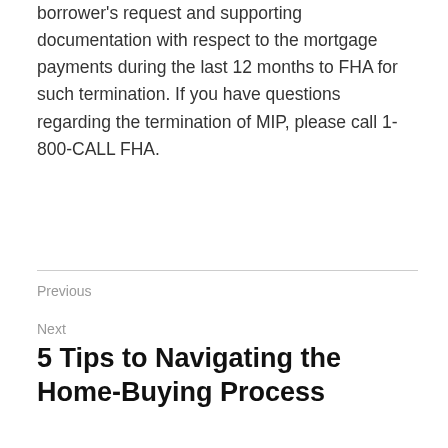borrower's request and supporting documentation with respect to the mortgage payments during the last 12 months to FHA for such termination. If you have questions regarding the termination of MIP, please call 1-800-CALL FHA.
Previous
Next
5 Tips to Navigating the Home-Buying Process